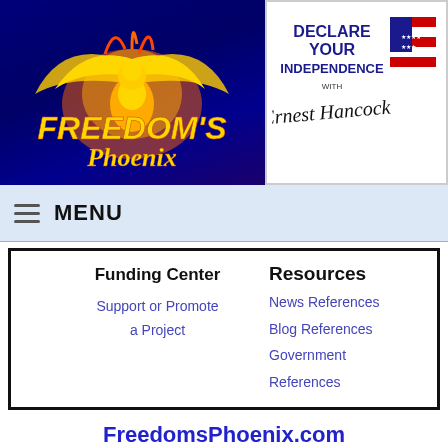[Figure (logo): Freedom's Phoenix logo with golden phoenix bird and stylized text on dark blue background]
[Figure (logo): Declare Your Independence with Ernest Hancock logo with flag graphic and signature]
MENU
Funding Center
Support or Promote a Project
Resources
News References
Blog References
Government References
FreedomsPhoenix.com
The domain and name of this website are servicemarks of Ernest Hancock.
Website is Copyright © 2022 by Ernest Hancock.  All rights reserved worldwide.
PO Box 1681, Sun City, AZ 85372 USA.
031553702
Stats by StatCounter